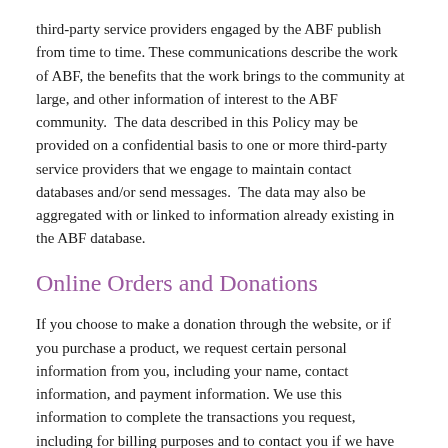third-party service providers engaged by the ABF publish from time to time. These communications describe the work of ABF, the benefits that the work brings to the community at large, and other information of interest to the ABF community.  The data described in this Policy may be provided on a confidential basis to one or more third-party service providers that we engage to maintain contact databases and/or send messages.  The data may also be aggregated with or linked to information already existing in the ABF database.
Online Orders and Donations
If you choose to make a donation through the website, or if you purchase a product, we request certain personal information from you, including your name, contact information, and payment information. We use this information to complete the transactions you request, including for billing purposes and to contact you if we have trouble processing an order. For donations, we may contact you to discuss the terms of your donation, and/or to invite you to donate again to ABF. We will not trade, share or sell a donor's personal information to anyone else, nor send donor mailings on behalf of other organizations, unless we have the donor's specific permission to do so.